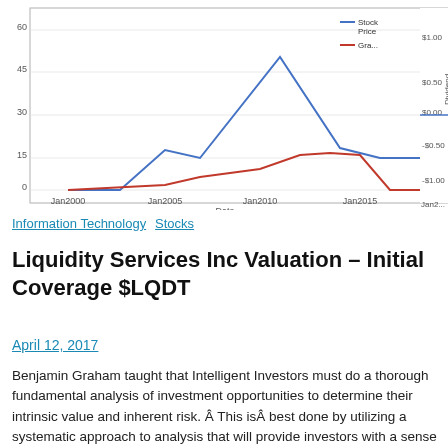[Figure (line-chart): Stock Price and Graham Number vs Date]
Information Technology  Stocks
Liquidity Services Inc Valuation – Initial Coverage $LQDT
April 12, 2017
Benjamin Graham taught that Intelligent Investors must do a thorough fundamental analysis of investment opportunities to determine their intrinsic value and inherent risk.  This is  best done by utilizing a systematic approach to analysis that will provide investors with a sense of how a specific company compares to another company  or by reviewing the  10 Stocks for Using A Benjamin Graham Value Investing Strategy – March  2017.  By